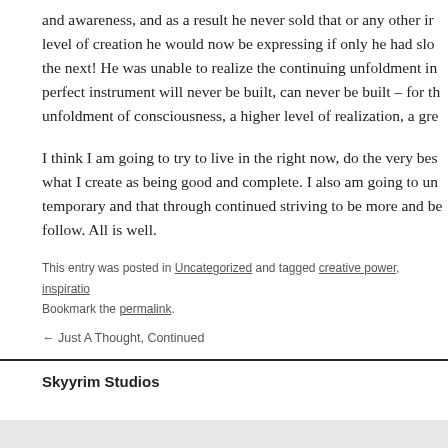and awareness,  and as a result he never sold that or any other ir level of creation he would now be expressing if only he had slo the next! He was unable to realize the continuing unfoldment in perfect instrument will never be built, can never be built – for th unfoldment of consciousness, a higher level of realization, a gre
I think I am going to try to live in the right now, do the very bes what I create as being good and complete. I also am going to un temporary and that through continued striving to be more and be follow. All is well.
This entry was posted in Uncategorized and tagged creative power, inspiratio Bookmark the permalink.
← Just A Thought, Continued
Skyyrim Studios